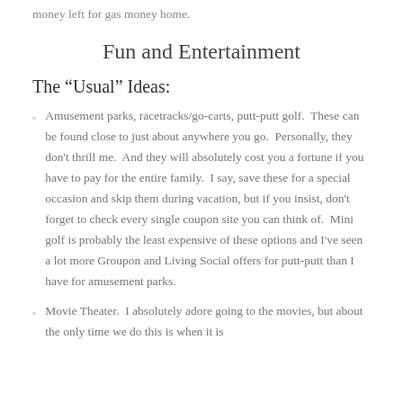money left for gas money home.
Fun and Entertainment
The “Usual” Ideas:
Amusement parks, racetracks/go-carts, putt-putt golf.  These can be found close to just about anywhere you go.  Personally, they don't thrill me.  And they will absolutely cost you a fortune if you have to pay for the entire family.  I say, save these for a special occasion and skip them during vacation, but if you insist, don't forget to check every single coupon site you can think of.  Mini golf is probably the least expensive of these options and I've seen a lot more Groupon and Living Social offers for putt-putt than I have for amusement parks.
Movie Theater.  I absolutely adore going to the movies, but about the only time we do this is when it is